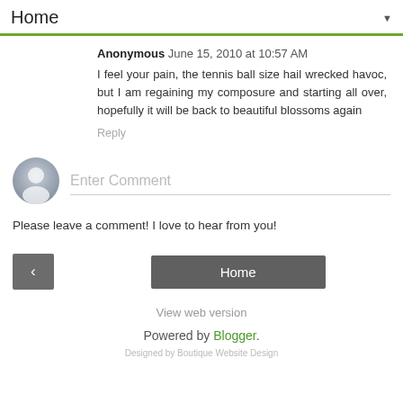Home ▼
Anonymous June 15, 2010 at 10:57 AM
I feel your pain, the tennis ball size hail wrecked havoc, but I am regaining my composure and starting all over, hopefully it will be back to beautiful blossoms again
Reply
[Figure (other): User avatar circle with person silhouette icon, gray gradient]
Enter Comment
Please leave a comment! I love to hear from you!
< Home
View web version
Powered by Blogger.
Designed by Boutique Website Design